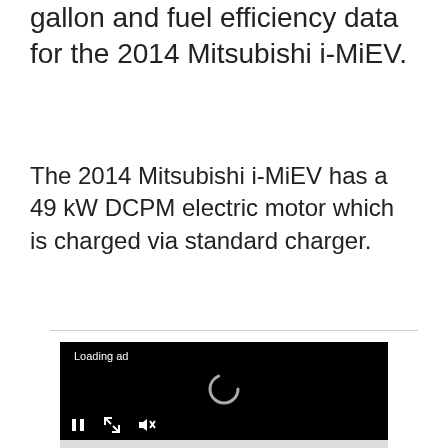gallon and fuel efficiency data for the 2014 Mitsubishi i-MiEV.
The 2014 Mitsubishi i-MiEV has a 49 kW DCPM electric motor which is charged via standard charger.
[Figure (screenshot): Video player showing a loading ad with a spinner, pause button, expand button, and mute button controls at the bottom.]